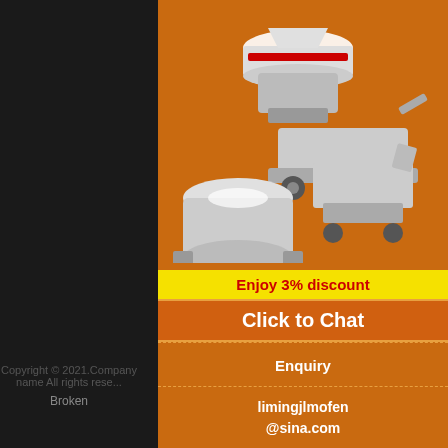limestone hammer crusher working
gold concentrates for sale
About us
Founded in 1987, Liming Crushing Company is mainly engaged in the R&D and manufacturing of large-scale equipment required for construction, energy, transportation and other national infrastructure construction projects, as well as providing technical solutions and supporting products.
[Figure (illustration): Advertisement banner for Liming Crushing Company showing crusher and grinding mill machinery images with orange background, 'Enjoy 3% discount' in yellow, 'Click to Chat' button, Enquiry button, and email limingjlmofen@sina.com]
Copyright © 2021.Company name All rights reserved.
Broken